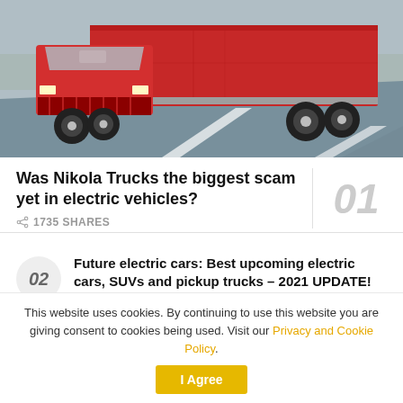[Figure (photo): Red electric semi-truck (Nikola) driving on a highway road, photographed from a low front-side angle. The truck has a bold red cab and a red trailer, driving on a grey asphalt road with white lane markings.]
Was Nikola Trucks the biggest scam yet in electric vehicles?
1735 SHARES
Future electric cars: Best upcoming electric cars, SUVs and pickup trucks – 2021 UPDATE!
1354 SHARES
This website uses cookies. By continuing to use this website you are giving consent to cookies being used. Visit our Privacy and Cookie Policy.